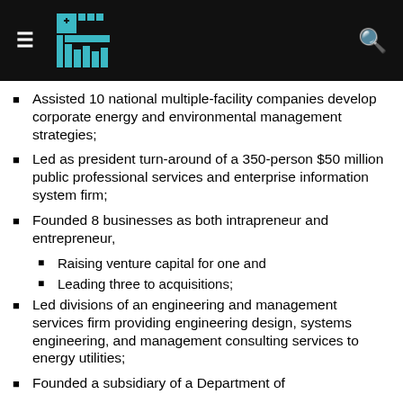Navigation header with logo and search
Assisted 10 national multiple-facility companies develop corporate energy and environmental management strategies;
Led as president turn-around of a 350-person $50 million public professional services and enterprise information system firm;
Founded 8 businesses as both intrapreneur and entrepreneur,
Raising venture capital for one and
Leading three to acquisitions;
Led divisions of an engineering and management services firm providing engineering design, systems engineering, and management consulting services to energy utilities;
Founded a subsidiary of a Department of